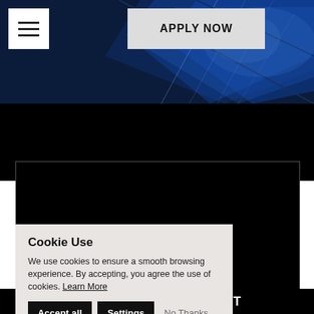[Figure (screenshot): Website hero section with dark blue geometric abstract background SVG pattern]
APPLY NOW
[Figure (screenshot): Black band and dark video/content area with SpaceX logo (X mark) in lower right]
Cookie Use
We use cookies to ensure a smooth browsing experience. By accepting, you agree the use of cookies. Learn More
Accept all   Settings   No Thanks
ACCELERATE IMPACT